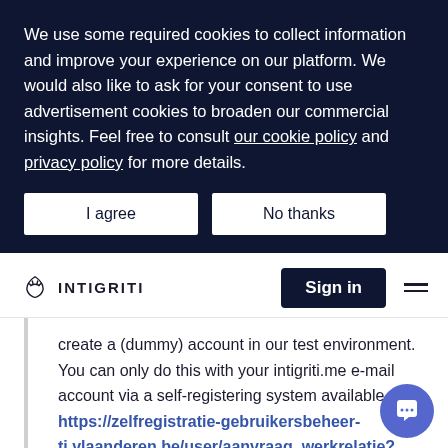We use some required cookies to collect information and improve your experience on our platform. We would also like to ask for your consent to use advertisement cookies to broaden our commercial insights. Feel free to consult our cookie policy and privacy policy for more details.
I agree | No thanks
[Figure (logo): Intigriti logo with bee icon and INTIGRITI text, Sign in button, and hamburger menu]
create a (dummy) account in our test environment. You can only do this with your intigriti.me e-mail account via a self-registering system available at https://zelfregistratie-gebruikersbeheer-ti.vlaanderen.be/user/aanvraag_werkrelatie?dg=EA&oc=0415928179. You can register with "Kinepolis Group" as a "Hoofd Lokale Beheerder". When you do so, please send an mail to webidm@hbplus.be with in the subject